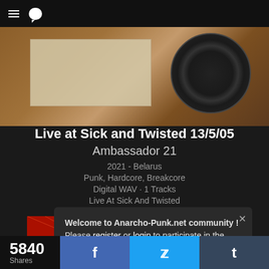≡  💬
[Figure (photo): Partial view of an album cover showing an old paper document and a vinyl record on a wooden surface]
Live at Sick and Twisted 13/5/05
Ambassador 21
2021 - Belarus
Punk, Hardcore, Breakcore
Digital WAV · 1 Tracks
Live At Sick And Twisted
[Figure (illustration): Ambassador 21 album cover art: red propaganda-style illustration with sun rays, text AMBA SS/ DOR21, church towers and crane imagery]
Welcome to Anarcho-Punk.net community ! Please register or login to participate in the forums. 🔒/🔓
5840
Shares